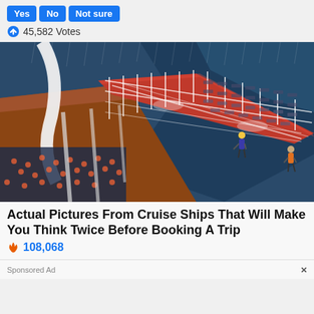Yes  No  Not sure
45,582 Votes
[Figure (photo): Aerial view of a cruise ship deck showing a water slide, running track, and lounge chairs along the side of the ship with ocean visible]
Actual Pictures From Cruise Ships That Will Make You Think Twice Before Booking A Trip
108,068
Sponsored Ad
×